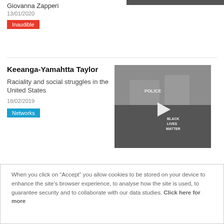Giovanna Zapperi
13/01/2020
Inaudible
Keeanga-Yamahtta Taylor
Raciality and social struggles in the United States
18/02/2019
Networks
[Figure (photo): Black and white photo of Black Lives Matter protest with signs reading POLICE and BLACK LIVES MATTER, with a play button overlay]
Lost, Loose and Loved: Foreign Artists in Paris
[Figure (photo): Photo of an art gallery interior with paintings on white walls]
When you click on “Accept” you allow cookies to be stored on your device to enhance the site’s browser experience, to analyse how the site is used, to guarantee security and to collaborate with our data studies. Click here for more